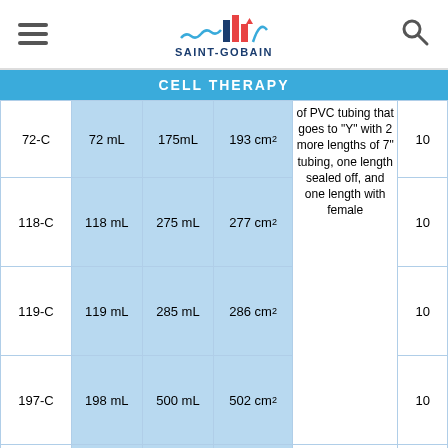SAINT-GOBAIN
CELL THERAPY
| ID | Vol | Max Vol | Area | Description | Qty |
| --- | --- | --- | --- | --- | --- |
| 72-C | 72 mL | 175mL | 193 cm² | of PVC tubing that goes to "Y" with 2 more lengths of 7" tubing, one length sealed off, and one length with female | 10 |
| 118-C | 118 mL | 275 mL | 277 cm² |  | 10 |
| 119-C | 119 mL | 285 mL | 286 cm² |  | 10 |
| 197-C | 198 mL | 500 mL | 502 cm² |  | 10 |